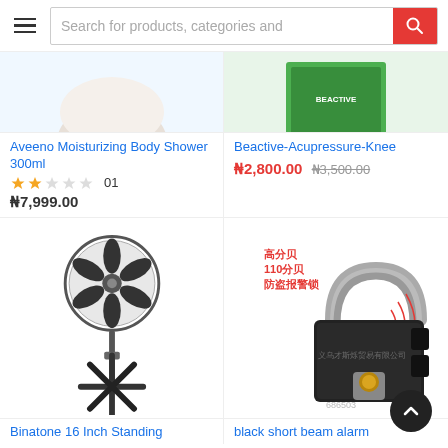Search for products, categories and
[Figure (photo): Partial product image top left (Aveeno product container, top portion cropped)]
[Figure (photo): Partial product image top right (green box packaging, top portion cropped)]
Aveeno Moisturizing Body Shower 300ml
Beactive-Acupressure-Knee
₦2,800.00  ₦3,500.00
★★☆☆☆  01
₦7,999.00
[Figure (photo): Binatone 16 inch standing fan with cross base pedestal]
[Figure (photo): Black short beam alarm padlock with Chinese text labels reading 高分贝 110分贝 防盗报警锁 and watermark 义乌才斯烁贸易有限公司, code 686503]
Binatone 16 Inch Standing
black short beam alarm